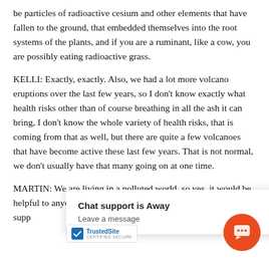be particles of radioactive cesium and other elements that have fallen to the ground, that embedded themselves into the root systems of the plants, and if you are a ruminant, like a cow, you are possibly eating radioactive grass.
KELLI: Exactly, exactly. Also, we had a lot more volcano eruptions over the last few years, so I don't know exactly what health risks other than of course breathing in all the ash it can bring, I don't know the whole variety of health risks, that is coming from that as well, but there are quite a few volcanoes that have become active these last few years. That is not normal, we don't usually have that many going on at one time.
MARTIN: We are living in a polluted world, so yes, it would be helpful to anyone ba supp ib